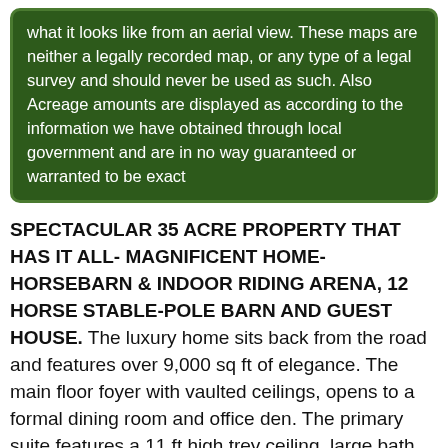what it looks like from an aerial view. These maps are neither a legally recorded map, or any type of a legal survey and should never be used as such. Also Acreage amounts are displayed as according to the information we have obtained through local government and are in no way guaranteed or warranted to be exact
SPECTACULAR 35 ACRE PROPERTY THAT HAS IT ALL- MAGNIFICENT HOME-HORSEBARN & INDOOR RIDING ARENA, 12 HORSE STABLE-POLE BARN AND GUEST HOUSE. The luxury home sits back from the road and features over 9,000 sq ft of elegance. The main floor foyer with vaulted ceilings, opens to a formal dining room and office den. The primary suite features a 11 ft high trey ceiling, large bath, two-way fireplace and walkout deck. The gourmet kitchen has updated appliances, and a breakfast nook with decorative wood ceiling